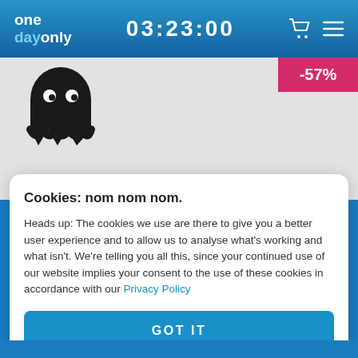one dayonly | 03:23:00
[Figure (screenshot): Product image area showing a ghost/cookie monster icon with -57% discount badge on gray background]
Cookies: nom nom nom.
Heads up: The cookies we use are there to give you a better user experience and to allow us to analyse what's working and what isn't. We're telling you all this, since your continued use of our website implies your consent to the use of these cookies in accordance with our Privacy Policy
GOT IT